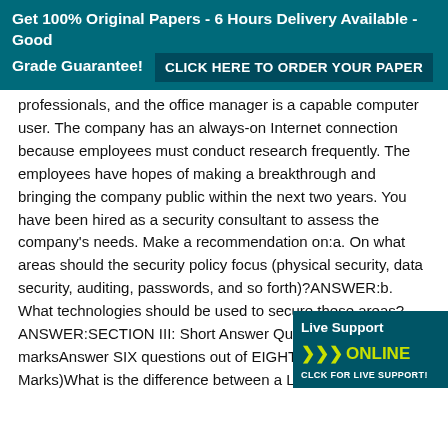Get 100% Original Papers - 6 Hours Delivery Available - Good Grade Guarantee! CLICK HERE TO ORDER YOUR PAPER
professionals, and the office manager is a capable computer user. The company has an always-on Internet connection because employees must conduct research frequently. The employees have hopes of making a breakthrough and bringing the company public within the next two years. You have been hired as a security consultant to assess the company's needs. Make a recommendation on:a. On what areas should the security policy focus (physical security, data security, auditing, passwords, and so forth)?ANSWER:b. What technologies should be used to secure these areas?ANSWER:SECTION III: Short Answer Questions 30 marksAnswer SIX questions out of EIGHT.Question 1: (5 Marks)What is the difference between a LA WAN?ANSWER:Question 2: (5 Marks)What difference between an intranet and an extran